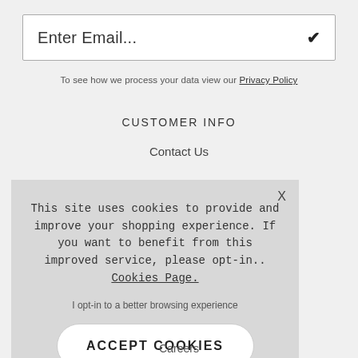[Figure (screenshot): Email input box with placeholder text 'Enter Email...' and a checkmark icon on the right]
To see how we process your data view our Privacy Policy
CUSTOMER INFO
Contact Us
This site uses cookies to provide and improve your shopping experience. If you want to benefit from this improved service, please opt-in.. Cookies Page.
I opt-in to a better browsing experience
ACCEPT COOKIES
Careers